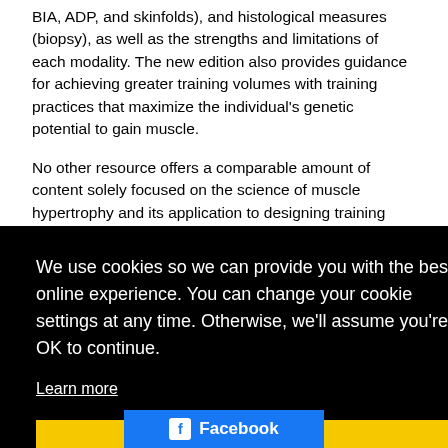BIA, ADP, and skinfolds), and histological measures (biopsy), as well as the strengths and limitations of each modality. The new edition also provides guidance for achieving greater training volumes with training practices that maximize the individual's genetic potential to gain muscle.
No other resource offers a comparable amount of content solely focused on the science of muscle hypertrophy and its application to designing training programs. The full-color book offers several features to make the content accessible to readers:
We use cookies so we can provide you with the best online experience. You can change your cookie settings at any time. Otherwise, we'll assume you're OK to continue.
Learn more
Got it!
explores how geneti... and other factors